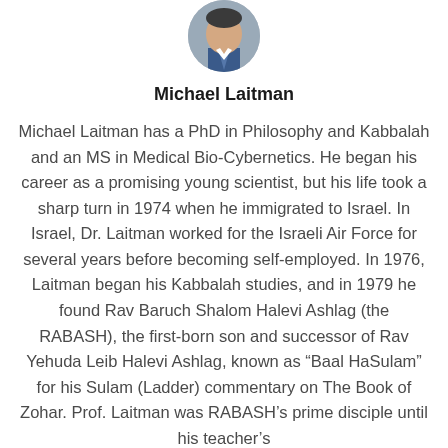[Figure (photo): Circular portrait photo of Michael Laitman, showing head and shoulders, partially cropped at top of page]
Michael Laitman
Michael Laitman has a PhD in Philosophy and Kabbalah and an MS in Medical Bio-Cybernetics. He began his career as a promising young scientist, but his life took a sharp turn in 1974 when he immigrated to Israel. In Israel, Dr. Laitman worked for the Israeli Air Force for several years before becoming self-employed. In 1976, Laitman began his Kabbalah studies, and in 1979 he found Rav Baruch Shalom Halevi Ashlag (the RABASH), the first-born son and successor of Rav Yehuda Leib Halevi Ashlag, known as “Baal HaSulam” for his Sulam (Ladder) commentary on The Book of Zohar. Prof. Laitman was RABASH’s prime disciple until his teacher’s